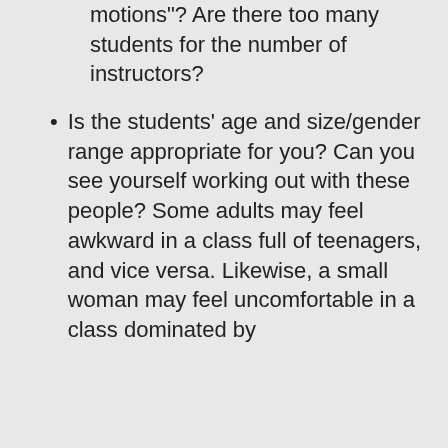motions"? Are there too many students for the number of instructors?
Is the students' age and size/gender range appropriate for you? Can you see yourself working out with these people? Some adults may feel awkward in a class full of teenagers, and vice versa. Likewise, a small woman may feel uncomfortable in a class dominated by